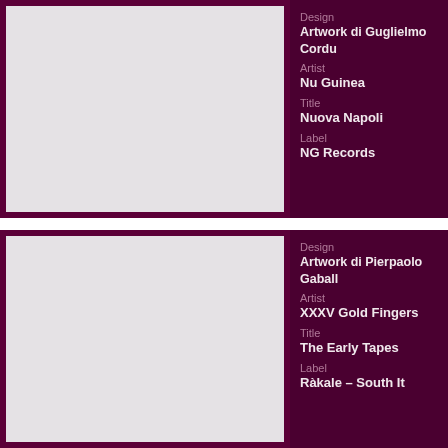[Figure (photo): Album artwork placeholder (grey rectangle) for Nuova Napoli by Nu Guinea]
Design
Artwork di Guglielmo Cordu...
Artist
Nu Guinea
Title
Nuova Napoli
Label
NG Records
[Figure (photo): Album artwork placeholder (grey rectangle) for The Early Tapes by XXXV Gold Fingers]
Design
Artwork di Pierpaolo Gaball...
Artist
XXXV Gold Fingers
Title
The Early Tapes
Label
Ràkale – South It